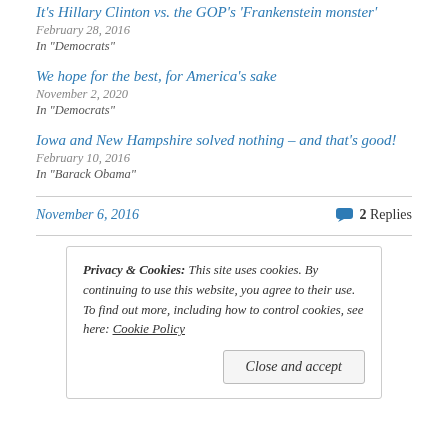It's Hillary Clinton vs. the GOP's 'Frankenstein monster'
February 28, 2016
In "Democrats"
We hope for the best, for America's sake
November 2, 2020
In "Democrats"
Iowa and New Hampshire solved nothing – and that's good!
February 10, 2016
In "Barack Obama"
November 6, 2016
2 Replies
Privacy & Cookies: This site uses cookies. By continuing to use this website, you agree to their use.
To find out more, including how to control cookies, see here: Cookie Policy
Close and accept